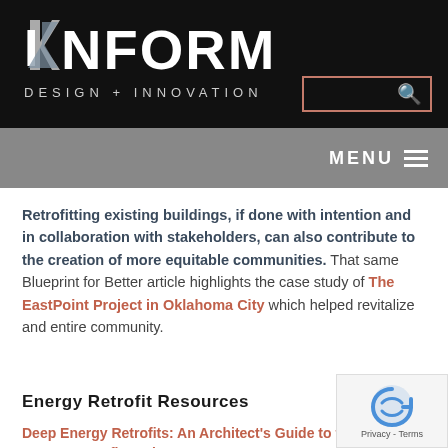[Figure (logo): INFORM Design + Innovation logo in white text on black background]
[Figure (screenshot): Navigation bar with MENU and hamburger icon on grey background]
Retrofitting existing buildings, if done with intention and in collaboration with stakeholders, can also contribute to the creation of more equitable communities. That same Blueprint for Better article highlights the case study of The EastPoint Project in Oklahoma City which helped revitalize and entire community.
Energy Retrofit Resources
Deep Energy Retrofits: An Architect's Guide to the Energy Retrofit Market...